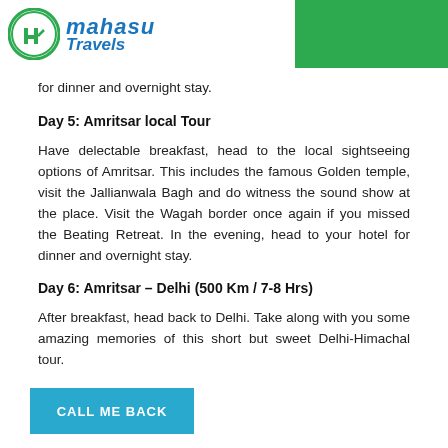[Figure (logo): Mahasu Travels logo with green circle icon and blue italic text]
for dinner and overnight stay.
Day 5: Amritsar local Tour
Have delectable breakfast, head to the local sightseeing options of Amritsar. This includes the famous Golden temple, visit the Jallianwala Bagh and do witness the sound show at the place. Visit the Wagah border once again if you missed the Beating Retreat. In the evening, head to your hotel for dinner and overnight stay.
Day 6: Amritsar – Delhi (500 Km / 7-8 Hrs)
After breakfast, head back to Delhi. Take along with you some amazing memories of this short but sweet Delhi-Himachal tour.
CALL ME BACK